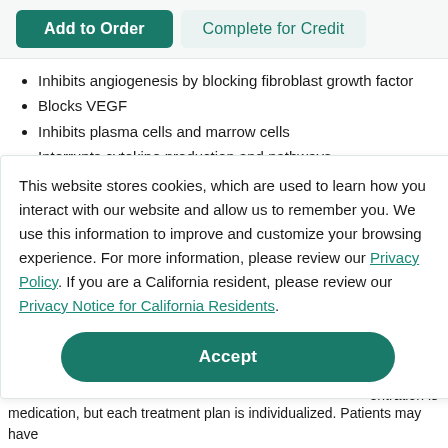[Figure (screenshot): Two buttons at top: 'Add to Order' (dark teal filled) and 'Complete for Credit' (light teal outlined)]
Inhibits angiogenesis by blocking fibroblast growth factor
Blocks VEGF
Inhibits plasma cells and marrow cells
Interrupts cytokine production and pathways
Down regulates or inhibits TNF-α and IL-6
Increases effect of glycoproteins, which have antitumor necrosis factor
This website stores cookies, which are used to learn how you interact with our website and allow us to remember you. We use this information to improve and customize your browsing experience. For more information, please review our Privacy Policy. If you are a California resident, please review our Privacy Notice for California Residents.
red in the
entration is
5].
s [69].
iting the
medication, but each treatment plan is individualized. Patients may have